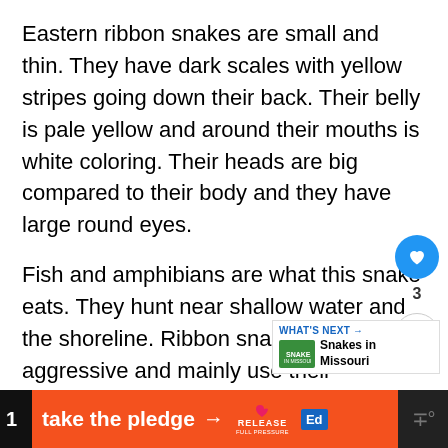Eastern ribbon snakes are small and thin. They have dark scales with yellow stripes going down their back. Their belly is pale yellow and around their mouths is white coloring. Their heads are big compared to their body and they have large round eyes.
Fish and amphibians are what this snake eats. They hunt near shallow water and the shoreline. Ribbon snakes are not aggressive and mainly use their camouflage as... They can make great pets for beginners.
[Figure (infographic): UI overlay with heart/like button showing blue circle with heart icon, count of 3, and share button. Also shows a 'WHAT'S NEXT' panel with thumbnail and text 'Snakes in Missouri'.]
take the pledge → RELEASE [Ed logo] [TV icon] 1